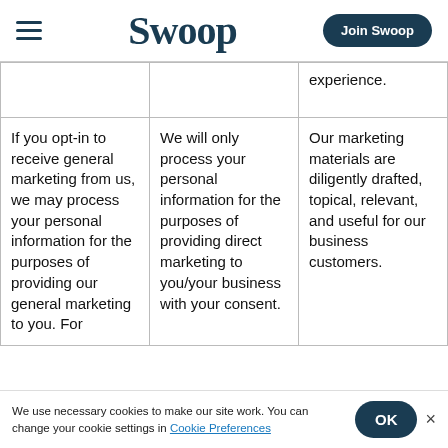Swoop — Join Swoop
|  |  |  |
| --- | --- | --- |
|  |  | experience. |
| If you opt-in to receive general marketing from us, we may process your personal information for the purposes of providing our general marketing to you. For | We will only process your personal information for the purposes of providing direct marketing to you/your business with your consent. | Our marketing materials are diligently drafted, topical, relevant, and useful for our business customers. |
We use necessary cookies to make our site work. You can change your cookie settings in Cookie Preferences